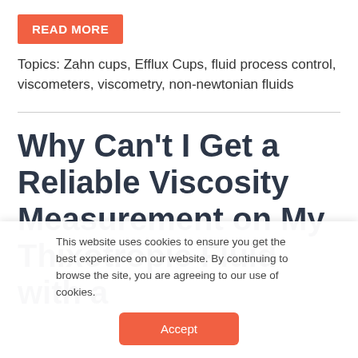[Figure (other): Orange 'READ MORE' button]
Topics: Zahn cups, Efflux Cups, fluid process control, viscometers, viscometry, non-newtonian fluids
Why Can't I Get a Reliable Viscosity Measurement on My Thixotropic Fluid with a
This website uses cookies to ensure you get the best experience on our website. By continuing to browse the site, you are agreeing to our use of cookies.
[Figure (other): Orange 'Accept' button for cookie consent]